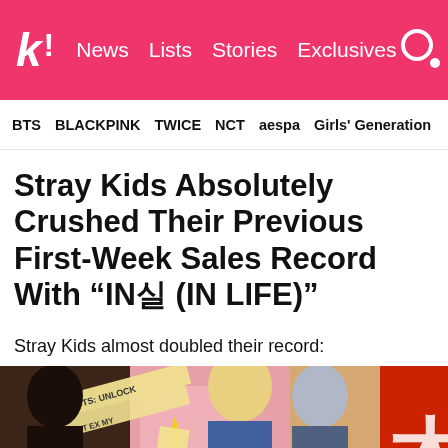K! News Lists Stories Exclusives
BTS  BLACKPINK  TWICE  NCT  aespa  Girls' Generation
Stray Kids Absolutely Crushed Their Previous First-Week Sales Record With “IN실 (IN LIFE)”
Stray Kids almost doubled their record:
[Figure (photo): Promotional image for Stray Kids album IN실 (IN LIFE), showing group members alongside album artwork with bold red and orange graphic design]